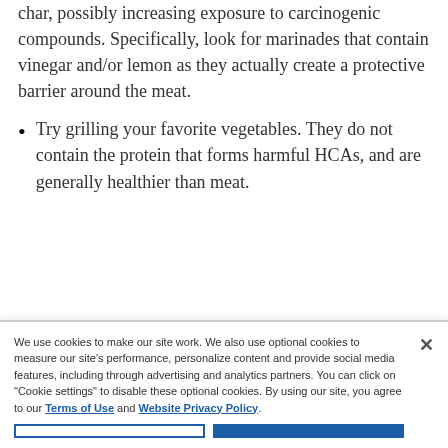char, possibly increasing exposure to carcinogenic compounds. Specifically, look for marinades that contain vinegar and/or lemon as they actually create a protective barrier around the meat.
Try grilling your favorite vegetables. They do not contain the protein that forms harmful HCAs, and are generally healthier than meat.
We use cookies to make our site work. We also use optional cookies to measure our site's performance, personalize content and provide social media features, including through advertising and analytics partners. You can click on "Cookie settings" to disable these optional cookies. By using our site, you agree to our Terms of Use and Website Privacy Policy.